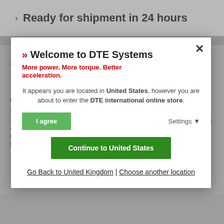Ready for shipment in 24 hours
[Figure (screenshot): Background webpage with cookie consent notice and DTE Systems modal overlay]
Welcome to DTE Systems
More power. More torque. Better acceleration.
It appears you are located in United States, however you are about to enter the DTE international online store.
I agree
Settings
Continue to United States
Go Back to United Kingdom | Choose another location